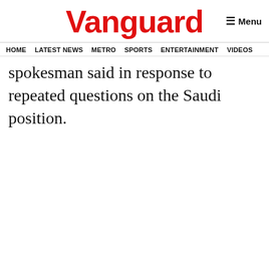Vanguard
Menu
HOME  LATEST NEWS  METRO  SPORTS  ENTERTAINMENT  VIDEOS
spokesman said in response to repeated questions on the Saudi position.